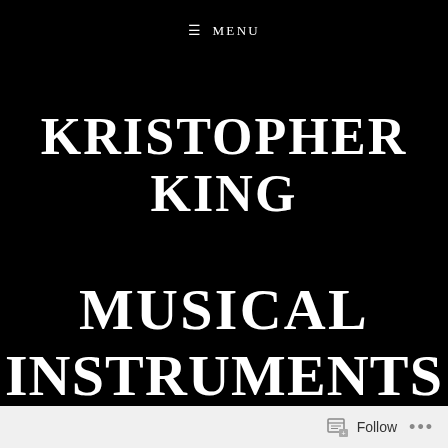≡ MENU
KRISTOPHER KING
MUSICAL INSTRUMENTS
Follow ...